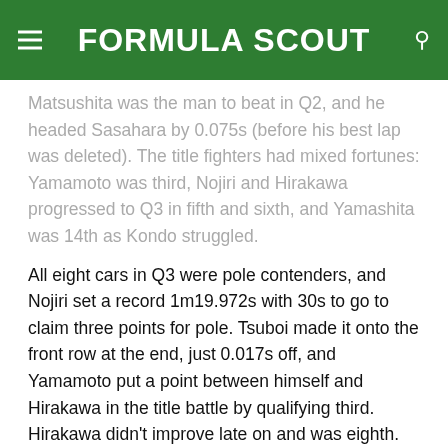FORMULA SCOUT
Matsushita was the man to beat in Q2, and he headed Sasahara by 0.075s (before his best lap was deleted). The title fighters had mixed fortunes: Yamamoto was third, Nojiri and Hirakawa progressed to Q3 in fifth and sixth, and Yamashita was 14th as Kondo struggled.
All eight cars in Q3 were pole contenders, and Nojiri set a record 1m19.972s with 30s to go to claim three points for pole. Tsuboi made it onto the front row at the end, just 0.017s off, and Yamamoto put a point between himself and Hirakawa in the title battle by qualifying third. Hirakawa didn't improve late on and was eighth.
Qualifying results
| Pos | Driver | Team | Q1 | Q2 |
| --- | --- | --- | --- | --- |